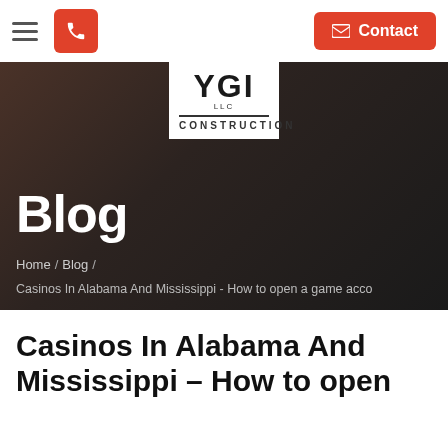Navigation bar with hamburger menu, phone button, and Contact button
[Figure (logo): YGI LLC Construction logo in white box on dark hero banner]
Blog
Home / Blog / Casinos In Alabama And Mississippi - How to open a game acco
Casinos In Alabama And Mississippi – How to open